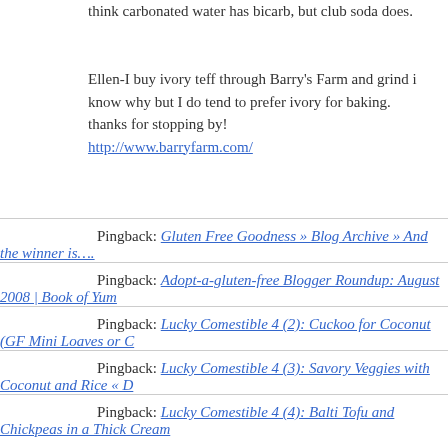think carbonated water has bicarb, but club soda does.
Ellen-I buy ivory teff through Barry's Farm and grind i know why but I do tend to prefer ivory for baking. thanks for stopping by! http://www.barryfarm.com/
Pingback: Gluten Free Goodness » Blog Archive » And the winner is….
Pingback: Adopt-a-gluten-free Blogger Roundup: August 2008 | Book of Yum
Pingback: Lucky Comestible 4 (2): Cuckoo for Coconut (GF Mini Loaves or C…
Pingback: Lucky Comestible 4 (3): Savory Veggies with Coconut and Rice « D…
Pingback: Lucky Comestible 4 (4): Balti Tofu and Chickpeas in a Thick Cream…